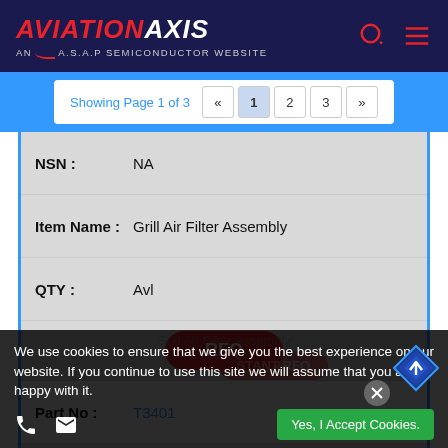AVIATION AXIS — AN A.S.A.P SEMICONDUCTOR WEBSITE
Showing Page 1 of 3 « 1 2 3 »
| Field | Value |
| --- | --- |
| NSN : | NA |
| Item Name : | Grill Air Filter Assembly |
| QTY : | Avl |
|  | RFQ |
| Part No : | T3401 |
| NSN : | NA |
We use cookies to ensure that we give you the best experience on our website. If you continue to use this site we will assume that you are happy with it.
Yes, I Accept Cookies.